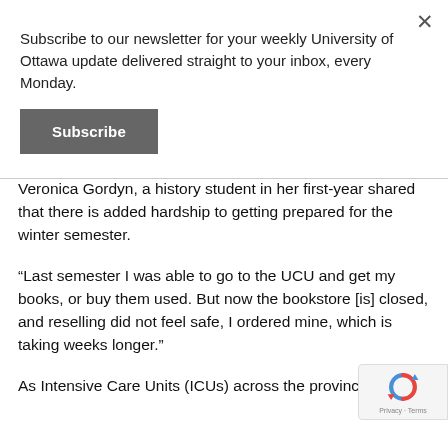Subscribe to our newsletter for your weekly University of Ottawa update delivered straight to your inbox, every Monday.
Subscribe
Veronica Gordyn, a history student in her first-year shared that there is added hardship to getting prepared for the winter semester.
“Last semester I was able to go to the UCU and get my books, or buy them used. But now the bookstore [is] closed, and reselling did not feel safe, I ordered mine, which is taking weeks longer.”
As Intensive Care Units (ICUs) across the province are